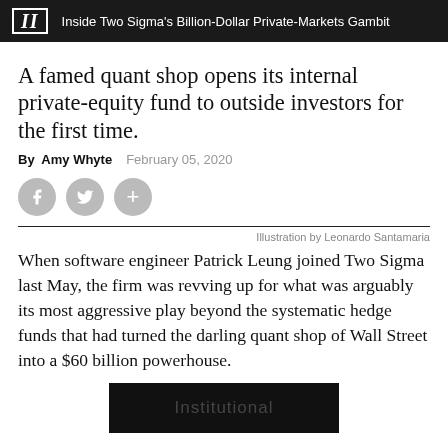II  Inside Two Sigma's Billion-Dollar Private-Markets Gambit
A famed quant shop opens its internal private-equity fund to outside investors for the first time.
By Amy Whyte   February 05, 2020
Illustration by Leonardo Santamaria
When software engineer Patrick Leung joined Two Sigma last May, the firm was revving up for what was arguably its most aggressive play beyond the systematic hedge funds that had turned the darling quant shop of Wall Street into a $60 billion powerhouse.
[Figure (other): Advertisement or illustration block, partially visible at the bottom of the page, dark background with faint text reading 'Institutional']